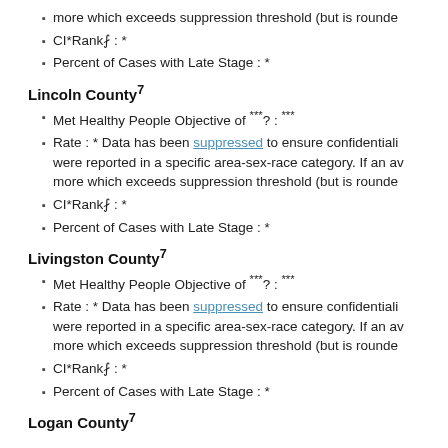more which exceeds suppression threshold (but is rounded...)
CI*Rank⋔ : *
Percent of Cases with Late Stage : *
Lincoln County⁷
Met Healthy People Objective of ***? : ***
Rate : * Data has been suppressed to ensure confidentiality were reported in a specific area-sex-race category. If an av more which exceeds suppression threshold (but is rounded...)
CI*Rank⋔ : *
Percent of Cases with Late Stage : *
Livingston County⁷
Met Healthy People Objective of ***? : ***
Rate : * Data has been suppressed to ensure confidentiality were reported in a specific area-sex-race category. If an av more which exceeds suppression threshold (but is rounded...)
CI*Rank⋔ : *
Percent of Cases with Late Stage : *
Logan County⁷